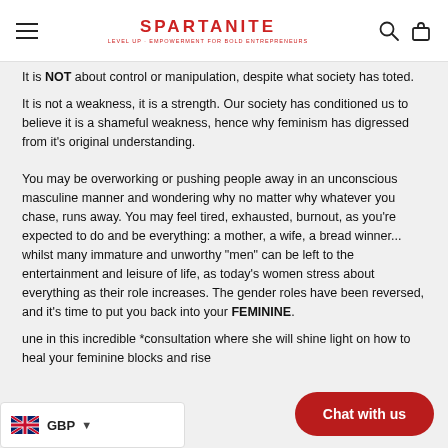SPARTANITE
It is NOT about control or manipulation, despite what society has toted.
It is not a weakness, it is a strength. Our society has conditioned us to believe it is a shameful weakness, hence why feminism has digressed from it's original understanding.
You may be overworking or pushing people away in an unconscious masculine manner and wondering why no matter why whatever you chase, runs away. You may feel tired, exhausted, burnout, as you're expected to do and be everything: a mother, a wife, a bread winner...  whilst many immature and unworthy "men" can be left to the entertainment and leisure of life, as today's women stress about everything as their role increases. The gender roles have been reversed, and it's time to put you back into your FEMININE.
une in this incredible *consultation where she will shine light on how to heal your feminine blocks and rise